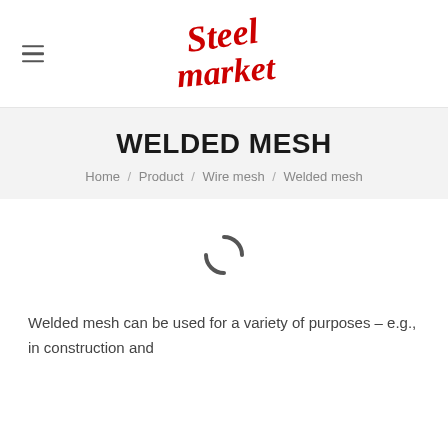[Figure (logo): Steel Market handwritten red script logo]
WELDED MESH
Home / Product / Wire mesh / Welded mesh
[Figure (other): Loading spinner icon]
Welded mesh can be used for a variety of purposes – e.g., in construction and